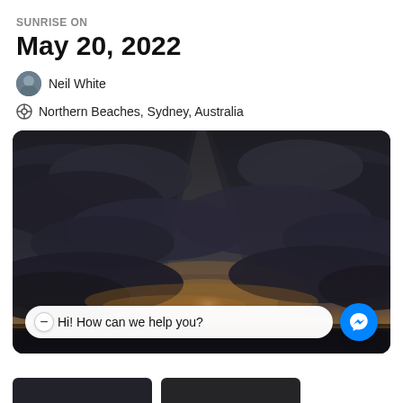SUNRISE ON
May 20, 2022
Neil White
Northern Beaches, Sydney, Australia
[Figure (photo): Dramatic sunrise sky with dark storm clouds, rays of light breaking through near the horizon over what appears to be a coastal scene. A chat widget overlay shows 'Hi! How can we help you?' with a Messenger button.]
Hi! How can we help you?